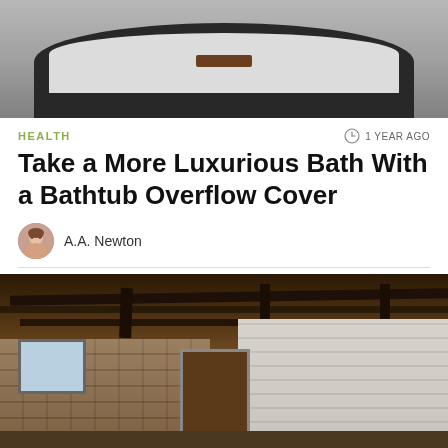[Figure (photo): Top portion of a black bathtub filled with water/bath salts, viewed from above]
HEALTH
1 YEAR AGO
Take a More Luxurious Bath With a Bathtub Overflow Cover
A.A. Newton
[Figure (photo): Interior of a rustic basement with exposed wooden ceiling beams, stone walls, hanging lights, and a doorway]
[Figure (other): Lifehacker advertisement banner with 'CLICK HERE' button]